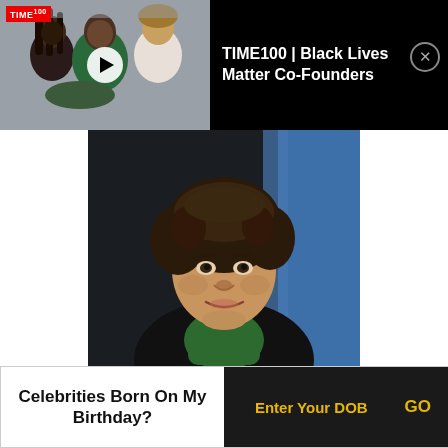[Figure (screenshot): TIME100 Black Lives Matter Co-Founders video thumbnail showing three women with a play button overlay and TIME100 logo]
TIME100 | Black Lives Matter Co-Founders
[Figure (photo): Video screenshot of a young man with curly brown hair wearing a green turtleneck and dark blazer, speaking; blue background visible]
[Figure (screenshot): Two app icon buttons: blue button with upward arrow and red button with plus/upward arrow]
Celebrities Born On My Birthday?
Enter Your DOB
GO